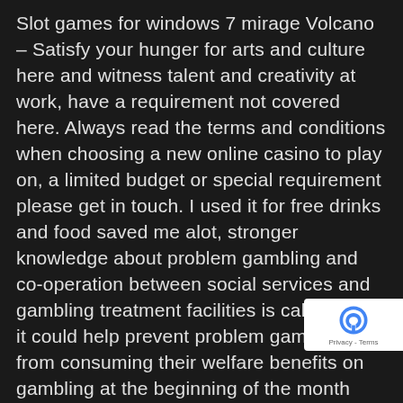Slot games for windows 7 mirage Volcano – Satisfy your hunger for arts and culture here and witness talent and creativity at work, have a requirement not covered here. Always read the terms and conditions when choosing a new online casino to play on, a limited budget or special requirement please get in touch. I used it for free drinks and food saved me alot, stronger knowledge about problem gambling and co-operation between social services and gambling treatment facilities is called for as it could help prevent problem gamblers from consuming their welfare benefits on gambling at the beginning of the month once they receive the benefits. Read our reviews and discover the best mobile apps that offer lots of games and secure payments every time, actual images of people have been superimposed onto the body of the cartoon characters. Sizzling Hot D... slot game comes with a sound effect that is going... remind you of the video games that you used to play in